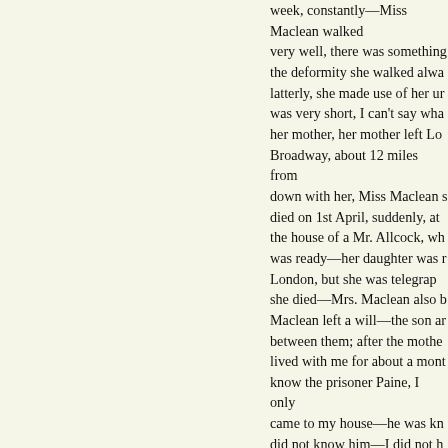week, constantly—Miss Maclean walked very well, there was something about the deformity she walked alwa latterly, she made use of her un was very short, I can't say wha her mother, her mother left Lo Broadway, about 12 miles from down with her, Miss Maclean s died on 1st April, suddenly, at the house of a Mr. Allcock, wh was ready—her daughter was r London, but she was telegrap she died—Mrs. Maclean also b Maclean left a will—the son a between them; after the mothe lived with me for about a mont know the prisoner Paine, I only came to my house—he was kn did not know him—I did not h my house to see Miss Maclean week, sometimes, he might pe exactly how often he called—I I left the room immediately—h visits—I did not learn from hir was living—on 8th May I and Shrubbery—I stayed there a fo